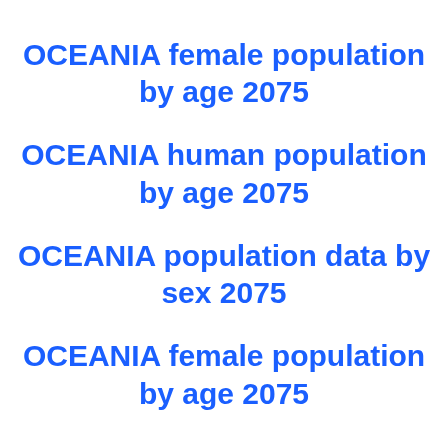OCEANIA female population by age 2075
OCEANIA human population by age 2075
OCEANIA population data by sex 2075
OCEANIA female population by age 2075